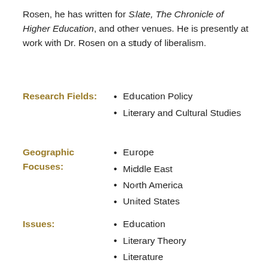Rosen, he has written for Slate, The Chronicle of Higher Education, and other venues. He is presently at work with Dr. Rosen on a study of liberalism.
Education Policy
Literary and Cultural Studies
Europe
Middle East
North America
United States
Education
Literary Theory
Literature
Privacy